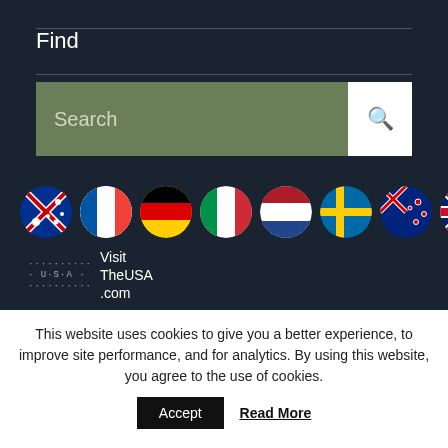Find
[Figure (screenshot): Search bar with green input field labeled 'Search' and a white search icon button on the right]
[Figure (illustration): Row of 8 country flag globe icons: Australia, France, Germany, Italy, Netherlands, Sweden, New Zealand, United Kingdom]
[Figure (logo): Visit TheUSA.com logo with dotted USA text graphic]
This website uses cookies to give you a better experience, to improve site performance, and for analytics. By using this website, you agree to the use of cookies.
Accept
Read More